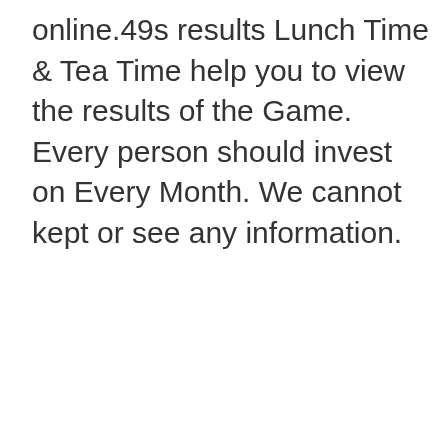online.49s results Lunch Time & Tea Time help you to view the results of the Game. Every person should invest on Every Month. We cannot kept or see any information.